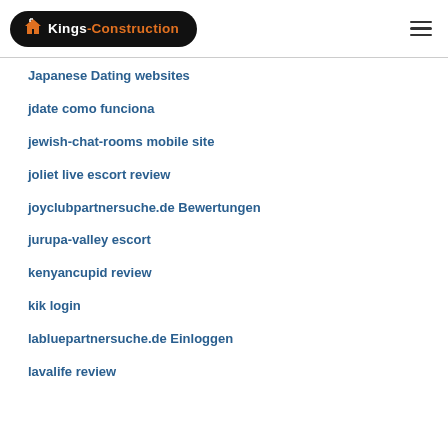Kings-Construction
Japanese Dating websites
jdate como funciona
jewish-chat-rooms mobile site
joliet live escort review
joyclubpartnersuche.de Bewertungen
jurupa-valley escort
kenyancupid review
kik login
labluepartnersuche.de Einloggen
lavalife review